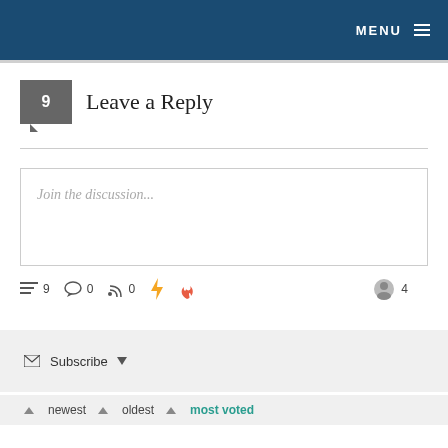MENU
9  Leave a Reply
Join the discussion...
≡ 9   ☺ 0   RSS 0   ⚡   🔥   👤 4
✉ Subscribe ▾
▲ newest   ▲ oldest   ▲ most voted